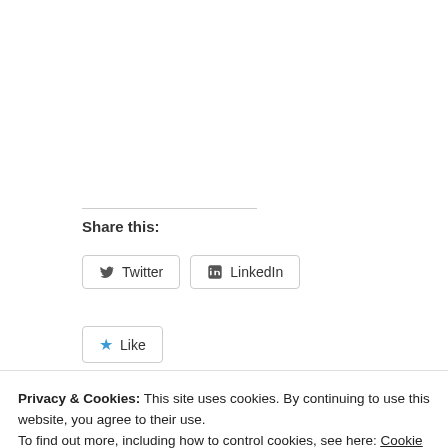Share this:
Twitter
LinkedIn
Like
Privacy & Cookies: This site uses cookies. By continuing to use this website, you agree to their use.
To find out more, including how to control cookies, see here: Cookie Policy
Close and accept